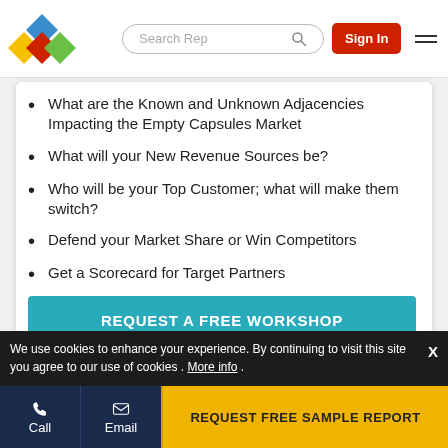Search Rep | Sign In
What are the Known and Unknown Adjacencies Impacting the Empty Capsules Market
What will your New Revenue Sources be?
Who will be your Top Customer; what will make them switch?
Defend your Market Share or Win Competitors
Get a Scorecard for Target Partners
REQUEST A FREE WORKSHOP
We use cookies to enhance your experience. By continuing to visit this site you agree to our use of cookies . More info .
Call | Email | REQUEST FREE SAMPLE REPORT